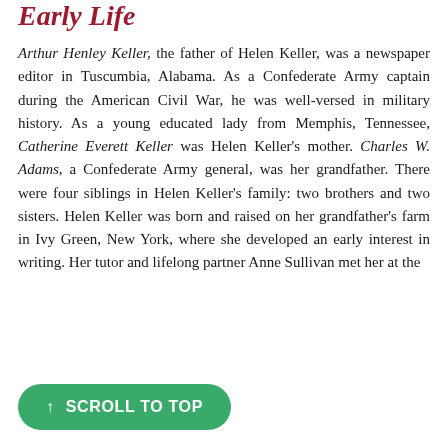Early Life
Arthur Henley Keller, the father of Helen Keller, was a newspaper editor in Tuscumbia, Alabama. As a Confederate Army captain during the American Civil War, he was well-versed in military history. As a young educated lady from Memphis, Tennessee, Catherine Everett Keller was Helen Keller's mother. Charles W. Adams, a Confederate Army general, was her grandfather. There were four siblings in Helen Keller's family: two brothers and two sisters. Helen Keller was born and raised on her grandfather's farm in Ivy Green, New York, where she developed an early interest in writing. Her tutor and lifelong partner Anne Sullivan met her at the
↑ SCROLL TO TOP